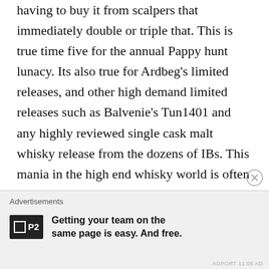having to buy it from scalpers that immediately double or triple that. This is true time five for the annual Pappy hunt lunacy. Its also true for Ardbeg's limited releases, and other high demand limited releases such as Balvenie's Tun1401 and any highly reviewed single cask malt whisky release from the dozens of IBs. This mania in the high end whisky world is often lamented – but it's clearly Adam Smith's guiding hand. So the rising prices of whisky aren't happening in a vacuum. This isn't meant to whitewash industry game playing or marketing BS. It's just pointing out a statement of fact.
By this fact alone, the latest prices that...
Advertisements
[Figure (logo): P2 logo - black square with P2 text]
Getting your team on the same page is easy. And free.